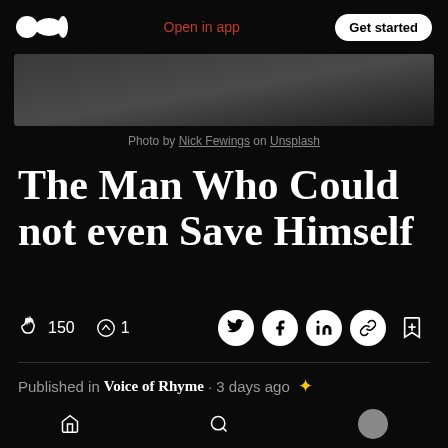Medium logo | Open in app | Get started
[Figure (photo): Hero image, dark textured background photo]
Photo by Nick Fewings on Unsplash
The Man Who Could not even Save Himself
150 claps, 1 comment, social share icons (Twitter, Facebook, LinkedIn, link), bookmark
Published in Voice of Rhyme · 3 days ago ✦
[Figure (photo): Partial article image at bottom]
Bottom navigation bar with home, search, and avatar icons